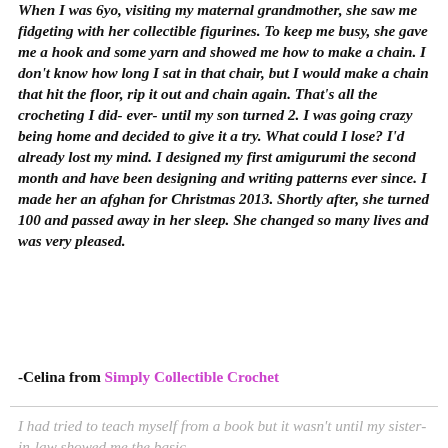When I was 6yo, visiting my maternal grandmother, she saw me fidgeting with her collectible figurines. To keep me busy, she gave me a hook and some yarn and showed me how to make a chain. I don't know how long I sat in that chair, but I would make a chain that hit the floor, rip it out and chain again. That's all the crocheting I did- ever- until my son turned 2. I was going crazy being home and decided to give it a try. What could I lose? I'd already lost my mind. I designed my first amigurumi the second month and have been designing and writing patterns ever since. I made her an afghan for Christmas 2013. Shortly after, she turned 100 and passed away in her sleep. She changed so many lives and was very pleased.
-Celina from Simply Collectible Crochet
I had tried to teach myself from a book but it wasn't until my sister-in-law showed me the basic